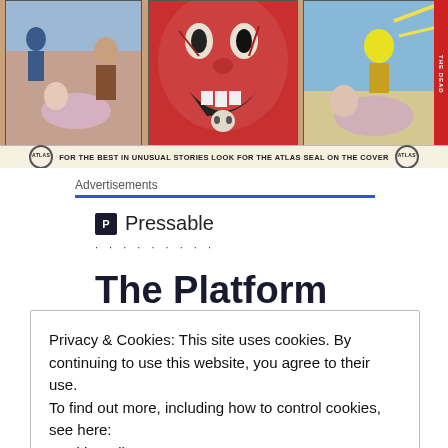[Figure (illustration): Three vintage comic book panels showing action scenes with figures fighting and large dramatic face, with Atlas seal banner below reading FOR THE BEST IN UNUSUAL STORIES LOOK FOR THE ATLAS SEAL ON THE COVER]
Advertisements
[Figure (logo): Pressable logo with P icon and text Pressable followed by dots]
The Platform
Privacy & Cookies: This site uses cookies. By continuing to use this website, you agree to their use.
To find out more, including how to control cookies, see here:
Cookie Policy
Close and accept